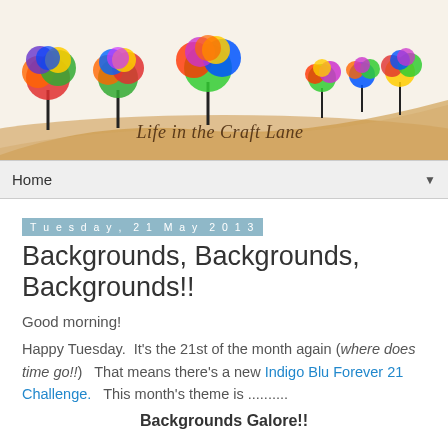[Figure (illustration): Blog header banner for 'Life in the Craft Lane' with colorful rainbow trees along a winding sandy road]
Home ▼
Tuesday, 21 May 2013
Backgrounds, Backgrounds, Backgrounds!!
Good morning!
Happy Tuesday.  It's the 21st of the month again (where does time go!!)   That means there's a new Indigo Blu Forever 21 Challenge.   This month's theme is ..........
Backgrounds Galore!!